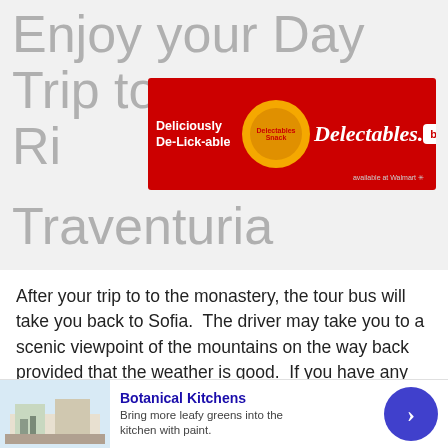Enjoy your Day Trip to Ri… Traventuria
[Figure (other): Advertisement banner: red background, orange circle with product image, 'Delectables' brand text in white italic, 'Deliciously De-Lick-able' tagline, 'buy now' button, 'available at Walmart' text]
After your trip to to the monastery, the tour bus will take you back to Sofia.  The driver may take you to a scenic viewpoint of the mountains on the way back provided that the weather is good.  If you have any further questions for the guide, on the way back is a good time to ask them.  Your phone battery will probably be low so on the way back is a good time to charge it.  Additionally it's a good time to upload the Facebook and I [CLOSE] am phot…
[Figure (other): Advertisement: Botanical Kitchens - 'Bring more leafy greens into the kitchen with paint.' with kitchen image and blue arrow button]